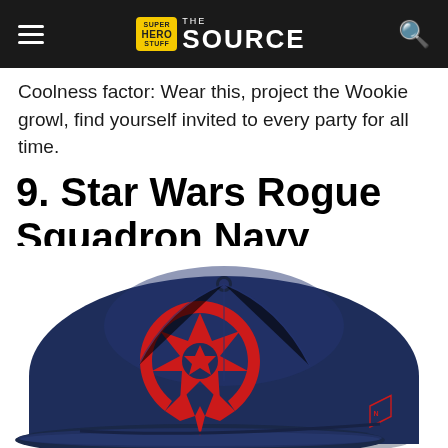Super Hero Stuff — THE SOURCE
Coolness factor: Wear this, project the Wookie growl, find yourself invited to every party for all time.
9. Star Wars Rogue Squadron Navy 39Thirty Hat!
[Figure (photo): A navy blue baseball cap with a red Star Wars Rebel Alliance Rogue Squadron logo embroidered on the front, and a red New Era logo on the side.]